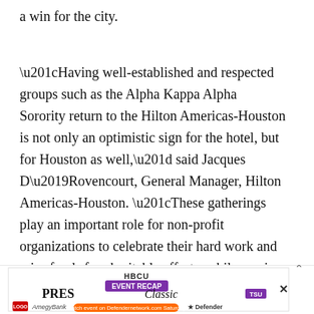a win for the city.
“Having well-established and respected groups such as the Alpha Kappa Alpha Sorority return to the Hilton Americas-Houston is not only an optimistic sign for the hotel, but for Houston as well,” said Jacques D’Rovencourt, General Manager, Hilton Americas-Houston. “These gatherings play an important role for non-profit organizations to celebrate their hard work and raise funds for charitable efforts, while serving as a launchpad to help make positive change in
[Figure (other): Advertisement banner for HBCU Press Classic Event Recap featuring AmegyBank and Defender sponsorship logos with a watch event call-to-action]